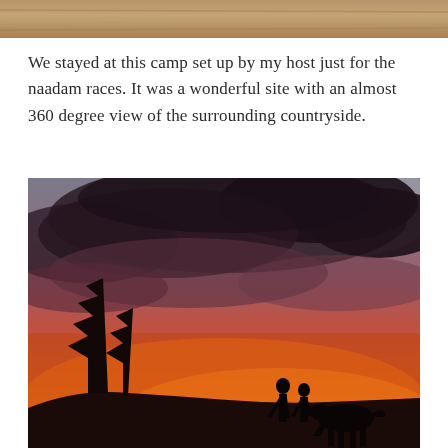[Figure (photo): Top portion of a photo, showing what appears to be a sandy or earthy textured surface, cropped at the top of the page.]
We stayed at this camp set up by my host just for the naadam races. It was a wonderful site with an almost 360 degree view of the surrounding countryside.
[Figure (photo): A dramatic sunset silhouette photograph showing two people standing with a horse grazing beside them, silhouetted against a vivid orange and red sky with dark storm clouds above. Trees are silhouetted on the left side.]